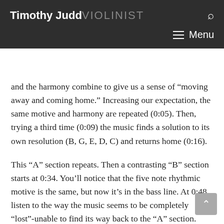Timothy Judd VIOLINIST
and the harmony combine to give us a sense of “moving away and coming home.” Increasing our expectation, the same motive and harmony are repeated (0:05). Then, trying a third time (0:09) the music finds a solution to its own resolution (B, G, E, D, C) and returns home (0:16).
This “A” section repeats. Then a contrasting “B” section starts at 0:34. You’ll notice that the five note rhythmic motive is the same, but now it’s in the bass line. At 0:48 listen to the way the music seems to be completely “lost”-unable to find its way back to the “A” section. Like the dreamlike haze of a